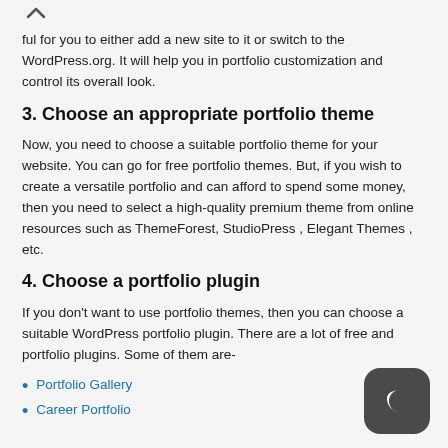ful for you to either add a new site to it or switch to the WordPress.org. It will help you in portfolio customization and control its overall look.
3. Choose an appropriate portfolio theme
Now, you need to choose a suitable portfolio theme for your website. You can go for free portfolio themes. But, if you wish to create a versatile portfolio and can afford to spend some money, then you need to select a high-quality premium theme from online resources such as ThemeForest, StudioPress , Elegant Themes , etc.
4. Choose a portfolio plugin
If you don't want to use portfolio themes, then you can choose a suitable WordPress portfolio plugin. There are a lot of free and portfolio plugins. Some of them are-
Portfolio Gallery
Career Portfolio